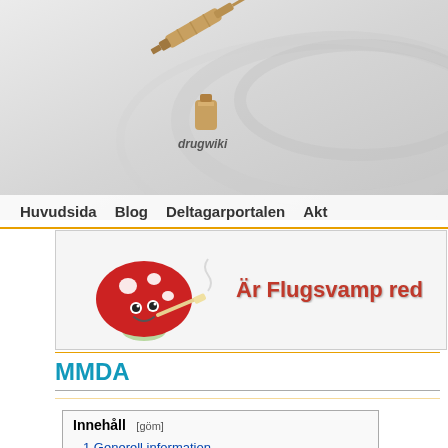[Figure (logo): drugwiki website logo with syringe and medicine bottle illustration]
Huvudsida  Blog  Deltagarportalen  Akt
[Figure (illustration): Cartoon mushroom character smoking a joint with text 'Är Flugsvamp red']
MMDA
Innehåll [göm]
1 Generell information
2 Effekt / dosering
3 Kemi
4 Farmakologi